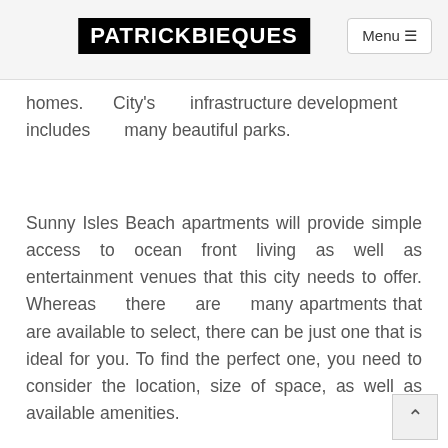PATRICKBIEQUES | Menu
homes. City's infrastructure development includes many beautiful parks.
Sunny Isles Beach apartments will provide simple access to ocean front living as well as entertainment venues that this city needs to offer. Whereas there are many apartments that are available to select, there can be just one that is ideal for you. To find the perfect one, you need to consider the location, size of space, as well as available amenities.